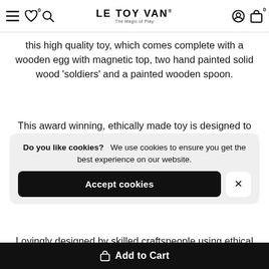LE TOY VAN® — The Magic of Play
this high quality toy, which comes complete with a wooden egg with magnetic top, two hand painted solid wood 'soldiers' and a painted wooden spoon.
This award winning, ethically made toy is designed to spark interactive, imaginative play. Supporting early years development  by encouraging social interaction, and improving dexterity and fine motor skills.
Do you like cookies?  We use cookies to ensure you get the best experience on our website.
Accept cookies
Lovingly designed by skilled craftspeople using ethical
Add to Cart